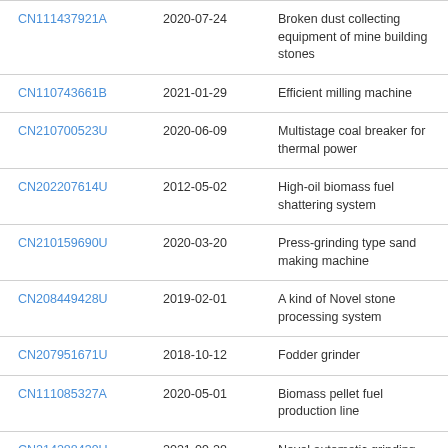| CN111437921A | 2020-07-24 | Broken dust collecting equipment of mine building stones |
| CN110743661B | 2021-01-29 | Efficient milling machine |
| CN210700523U | 2020-06-09 | Multistage coal breaker for thermal power |
| CN202207614U | 2012-05-02 | High-oil biomass fuel shattering system |
| CN210159690U | 2020-03-20 | Press-grinding type sand making machine |
| CN208449428U | 2019-02-01 | A kind of Novel stone processing system |
| CN207951671U | 2018-10-12 | Fodder grinder |
| CN111085327A | 2020-05-01 | Biomass pellet fuel production line |
| CN214288439U | 2021-09-28 | Novel automatic grinding equipment |